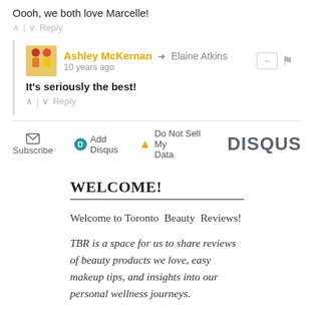Oooh, we both love Marcelle!
Ashley McKernan → Elaine Atkins
10 years ago
It's seriously the best!
[Figure (screenshot): Disqus comment footer bar with Subscribe, Add Disqus, Do Not Sell My Data options and DISQUS logo]
WELCOME!
Welcome to Toronto Beauty Reviews!
TBR is a space for us to share reviews of beauty products we love, easy makeup tips, and insights into our personal wellness journeys.